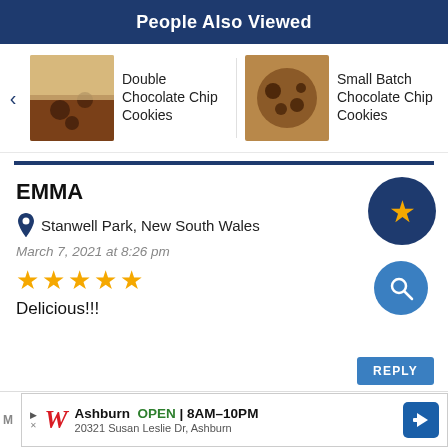People Also Viewed
[Figure (screenshot): Horizontal carousel of recipe thumbnails: Double Chocolate Chip Cookies, Small Batch Chocolate Chip Cookies, Whole Chocolate Cookies (partially visible), with left arrow navigation]
EMMA
Stanwell Park, New South Wales
March 7, 2021 at 8:26 pm
★★★★★
Delicious!!!
REPLY
JENNIFER @ SHOW ME THE YUMMY
[Figure (screenshot): Walgreens advertisement banner: Ashburn OPEN 8AM-10PM, 20321 Susan Leslie Dr, Ashburn]